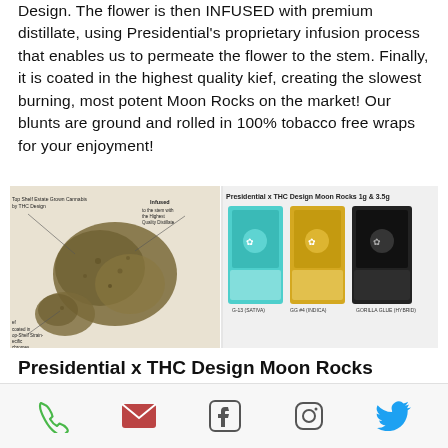Design. The flower is then INFUSED with premium distillate, using Presidential's proprietary infusion process that enables us to permeate the flower to the stem. Finally, it is coated in the highest quality kief, creating the slowest burning, most potent Moon Rocks on the market! Our blunts are ground and rolled in 100% tobacco free wraps for your enjoyment!
[Figure (photo): Left side: annotated moon rock cannabis nugget with labels 'Infused to the stem with the Highest Quality Distillate', 'Top-Shelf Estate Grown Cannabis by THC Design', 'Coated in Top-Shelf Strain-Specific trichomes'. Right side: Presidential x THC Design Moon Rocks 1g & 3.5g product packaging — three boxes in teal, gold, and black.]
Presidential x THC Design Moon Rocks
Your Presidential Moonrock Products consist of estate grown, single sourced flower cultivated by the award-winning THC Design. The flower is then INFUSED with premium distillate, using Presidential's